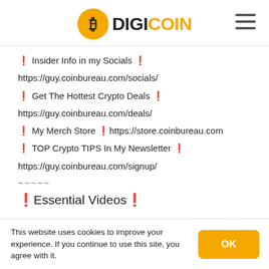DIGICOIN
📌 Insider Info in my Socials 📌
https://guy.coinbureau.com/socials/
🔥 Get The Hottest Crypto Deals 🔥
https://guy.coinbureau.com/deals/
👕 My Merch Store 👉https://store.coinbureau.com
📩 TOP Crypto TIPS In My Newsletter 📩
https://guy.coinbureau.com/signup/
~~~~~
📺Essential Videos📺
This website uses cookies to improve your experience. If you continue to use this site, you agree with it.